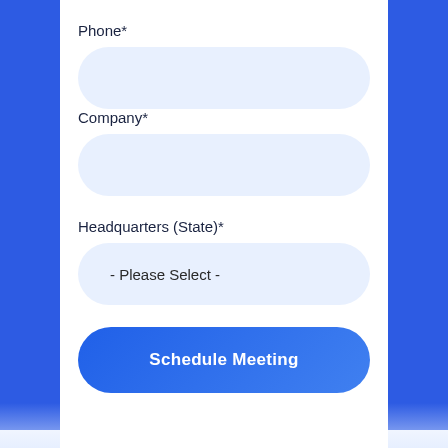Phone*
[Figure (other): Empty rounded input field for Phone]
Company*
[Figure (other): Empty rounded input field for Company]
Headquarters (State)*
[Figure (other): Rounded dropdown field showing '- Please Select -']
Schedule Meeting